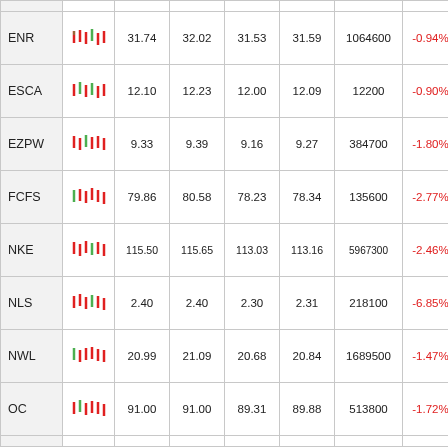| Ticker | Chart | Open | High | Low | Close | Volume | Change% |
| --- | --- | --- | --- | --- | --- | --- | --- |
| ENR |  | 31.74 | 32.02 | 31.53 | 31.59 | 1064600 | -0.94% |
| ESCA |  | 12.10 | 12.23 | 12.00 | 12.09 | 12200 | -0.90% |
| EZPW |  | 9.33 | 9.39 | 9.16 | 9.27 | 384700 | -1.80% |
| FCFS |  | 79.86 | 80.58 | 78.23 | 78.34 | 135600 | -2.77% |
| NKE |  | 115.50 | 115.65 | 113.03 | 113.16 | 5967300 | -2.46% |
| NLS |  | 2.40 | 2.40 | 2.30 | 2.31 | 218100 | -6.85% |
| NWL |  | 20.99 | 21.09 | 20.68 | 20.84 | 1689500 | -1.47% |
| OC |  | 91.00 | 91.00 | 89.31 | 89.88 | 513800 | -1.72% |